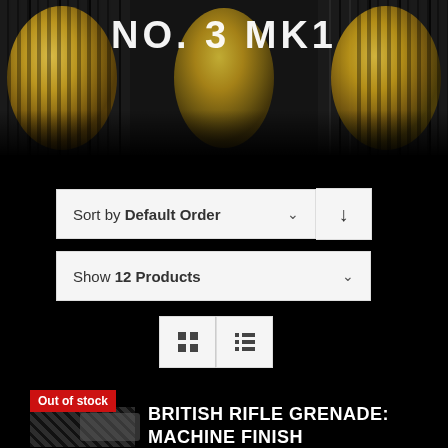[Figure (photo): Close-up photo of brass/gold colored mechanical gears or cylinders with dark ridged elements, overlaid with large white bold text 'NO. 3 MK1']
Sort by Default Order ↓
Show 12 Products
[Figure (other): Grid view and list view toggle buttons]
Out of stock
[Figure (photo): Small thumbnail image of a rifle grenade, dark background]
BRITISH RIFLE GRENADE: MACHINE FINISH